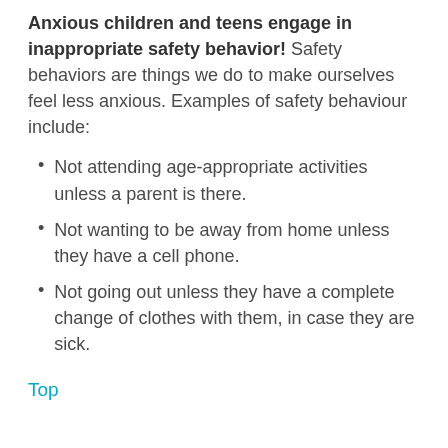Anxious children and teens engage in inappropriate safety behavior! Safety behaviors are things we do to make ourselves feel less anxious. Examples of safety behaviour include:
Not attending age-appropriate activities unless a parent is there.
Not wanting to be away from home unless they have a cell phone.
Not going out unless they have a complete change of clothes with them, in case they are sick.
Top